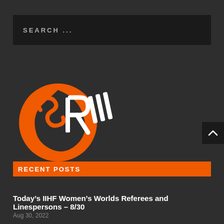SEARCH ...
[Figure (logo): SRW hockey referees logo with orange flame shape and white stylized letters SR with speed lines]
[Figure (other): Back to top chevron arrow button on dark background]
RECENT POSTS
Today’s IIHF Women’s Worlds Referees and Linespersons – 8/30
Aug 30, 2022